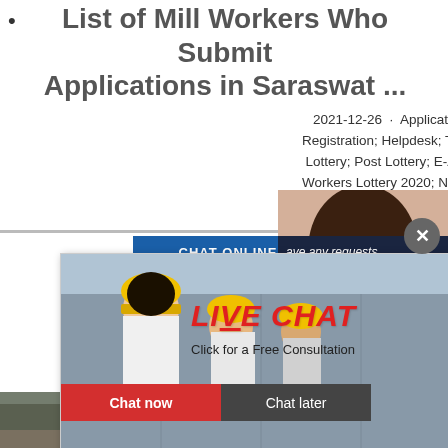List of Mill Workers Who Submit Applications in Saraswat ...
2021-12-26 · Application for allotment from Masterlist; Contractor Registration; Helpdesk; Tree Site. Pune Board; Lottery. Notice; Online Lottery; Post Lottery; E-Auction; Mumbai Lottery 2019 Results; Mill... Workers Lottery 2020; Nashik Board Lottery 2020; Tenders; Contacts;
[Figure (screenshot): Live Chat popup overlay with workers in yellow helmets, Live Chat heading in red italic, 'Click for a Free Consultation' text, Chat now (red button) and Chat later (dark button)]
[Figure (photo): Customer service representative with headset smiling]
[Figure (photo): Heavy mining/crushing machinery at a worksite]
ave any requests, click here.
Quotation
Enquiry
limingjlmofen@sina.com